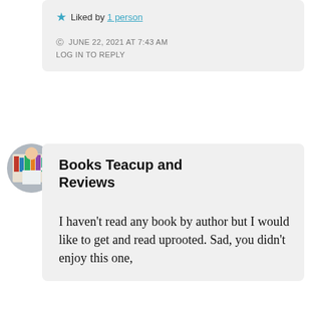★ Liked by 1 person
JUNE 22, 2021 AT 7:43 AM
LOG IN TO REPLY
Books Teacup and Reviews
I haven't read any book by author but I would like to get and read uprooted. Sad, you didn't enjoy this one,